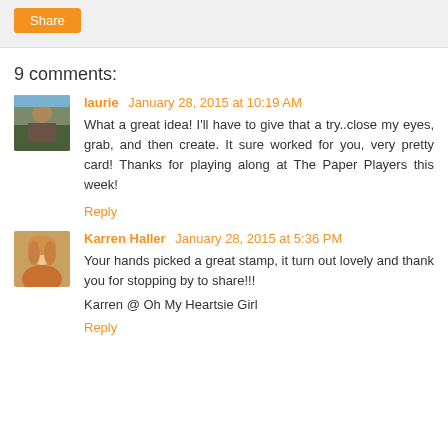Share
9 comments:
laurie  January 28, 2015 at 10:19 AM
What a great idea! I'll have to give that a try..close my eyes, grab, and then create. It sure worked for you, very pretty card! Thanks for playing along at The Paper Players this week!
Reply
Karren Haller  January 28, 2015 at 5:36 PM
Your hands picked a great stamp, it turn out lovely and thank you for stopping by to share!!!

Karren @ Oh My Heartsie Girl
Reply